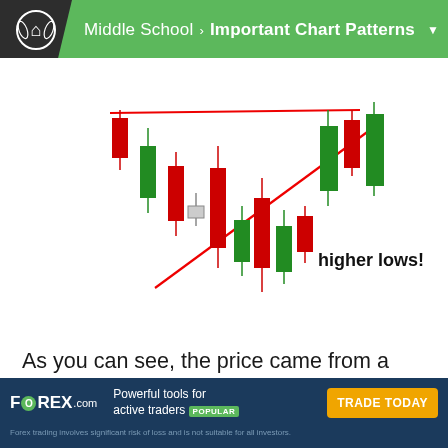Middle School > Important Chart Patterns
[Figure (illustration): Candlestick chart pattern showing a consolidation with higher lows. Red and green candlesticks forming a triangle pattern. Two red diagonal lines converge — one flat resistance line at top and one rising support line from lower-left to upper-right. The label 'higher lows!' appears in bold black text on the right side. Green and red candlesticks fill the pattern area.]
As you can see, the price came from a downtrend before consolidating and sketching higher highs and even higher lows.
[Figure (logo): FOREX.com advertisement banner. Logo shows 'FOREX.com' with green circle O, tagline 'Powerful tools for active traders POPULAR', orange 'TRADE TODAY' button, disclaimer text below.]